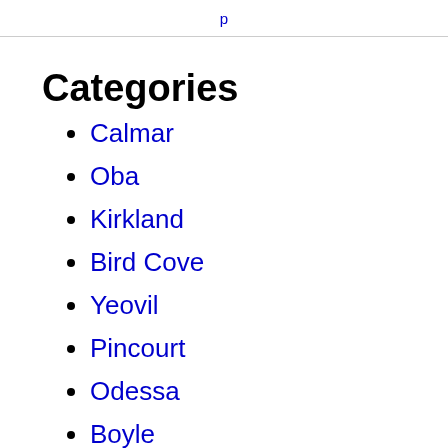p
Categories
Calmar
Oba
Kirkland
Bird Cove
Yeovil
Pincourt
Odessa
Boyle